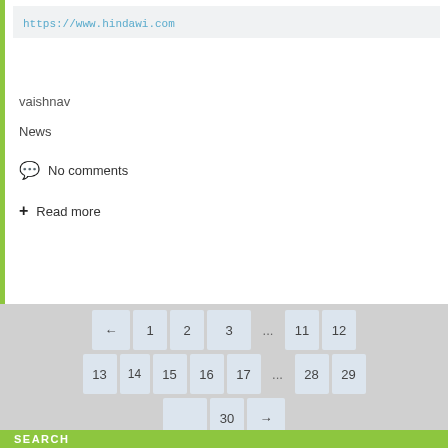https://www.hindawi.com
vaishnav
News
No comments
+ Read more
← 1 2 3 ... 11 12 13 14 15 16 17 ... 28 29 30 →
SEARCH